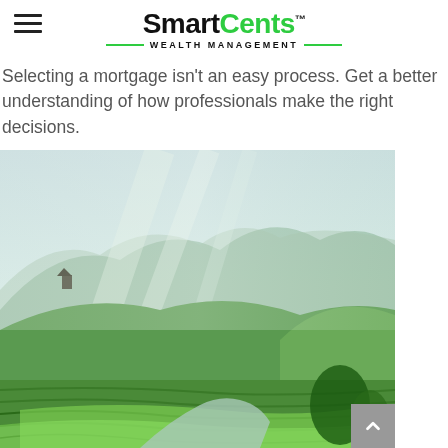SmartCents™ WEALTH MANAGEMENT
Selecting a mortgage isn't an easy process. Get a better understanding of how professionals make the right decisions.
[Figure (photo): Aerial landscape photo of terraced rice fields with a river winding through lush green misty mountains, with a small structure visible on a hilltop.]